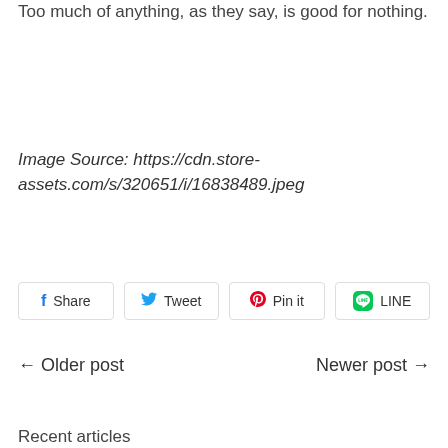Too much of anything, as they say, is good for nothing.
Image Source: https://cdn.store-assets.com/s/320651/i/16838489.jpeg
Share  Tweet  Pin it  LINE
← Older post    Newer post →
Recent articles